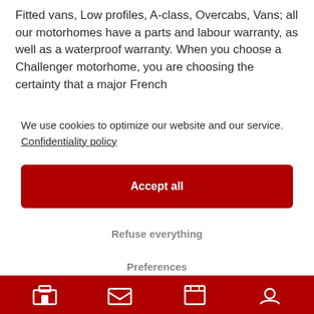Fitted vans, Low profiles, A-class, Overcabs, Vans; all our motorhomes have a parts and labour warranty, as well as a waterproof warranty. When you choose a Challenger motorhome, you are choosing the certainty that a major French
We use cookies to optimize our website and our service.  Confidentiality policy
Accept all
Refuse everything
Preferences
[Figure (other): Red bottom navigation bar with four white icon placeholders]